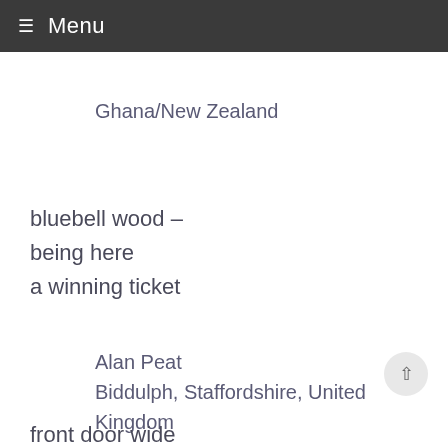≡ Menu
Ghana/New Zealand
bluebell wood –
being here
a winning ticket
Alan Peat
Biddulph, Staffordshire, United Kingdom
front door wide